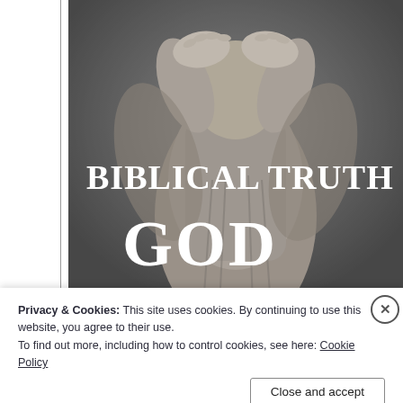[Figure (illustration): Black and white image of a stone angel statue with hands raised covering its face, with large white serif text overlay reading 'BIBLICAL TRUTHS' and 'GOD' on the right half of the image. Left side shows a white panel with a vertical line (sidebar/margin).]
Privacy & Cookies: This site uses cookies. By continuing to use this website, you agree to their use.
To find out more, including how to control cookies, see here: Cookie Policy
Close and accept